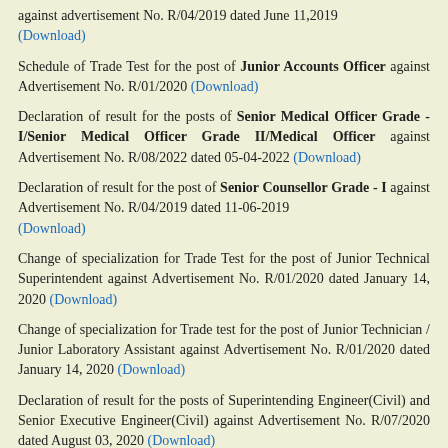against advertisement No. R/04/2019 dated June 11,2019 (Download)
Schedule of Trade Test for the post of Junior Accounts Officer against Advertisement No. R/01/2020 (Download)
Declaration of result for the posts of Senior Medical Officer Grade - I/Senior Medical Officer Grade II/Medical Officer against Advertisement No. R/08/2022 dated 05-04-2022 (Download)
Declaration of result for the post of Senior Counsellor Grade - I against Advertisement No. R/04/2019 dated 11-06-2019 (Download)
Change of specialization for Trade Test for the post of Junior Technical Superintendent against Advertisement No. R/01/2020 dated January 14, 2020 (Download)
Change of specialization for Trade test for the post of Junior Technician / Junior Laboratory Assistant against Advertisement No. R/01/2020 dated January 14, 2020 (Download)
Declaration of result for the posts of Superintending Engineer(Civil) and Senior Executive Engineer(Civil) against Advertisement No. R/07/2020 dated August 03, 2020 (Download)
Advertisement for the post of Professional Trainees in Finance & Accounts Section vide Advt. No. R/10/2020 dated July 30, 2020